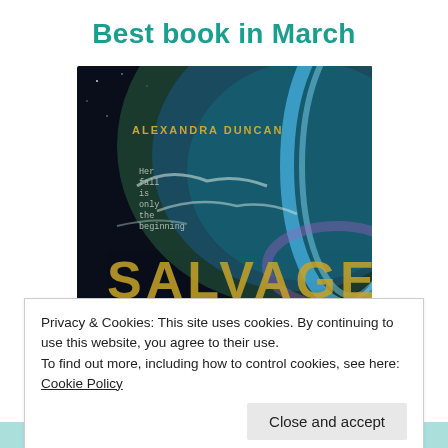Best book in March
[Figure (photo): Book cover of 'Salvage' by Alexandra Duncan showing Earth from space with blue atmospheric glow. Text on cover reads 'ALEXANDRA DUNCAN' and 'Her fall is only the beginning'. Large stylized title letters at the bottom.]
Privacy & Cookies: This site uses cookies. By continuing to use this website, you agree to their use.
To find out more, including how to control cookies, see here: Cookie Policy
Close and accept